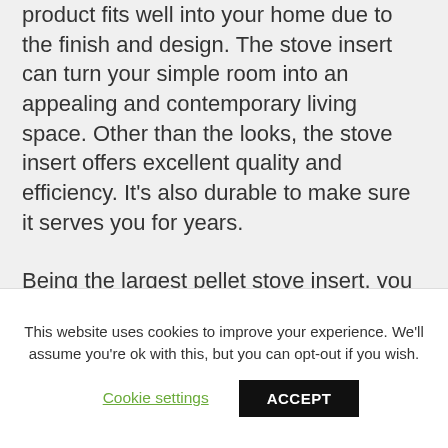product fits well into your home due to the finish and design. The stove insert can turn your simple room into an appealing and contemporary living space. Other than the looks, the stove insert offers excellent quality and efficiency. It's also durable to make sure it serves you for years.
Being the largest pellet stove insert, you will benefit from a wider viewing area to boost your comfort the whole night
This website uses cookies to improve your experience. We'll assume you're ok with this, but you can opt-out if you wish.
Cookie settings
ACCEPT